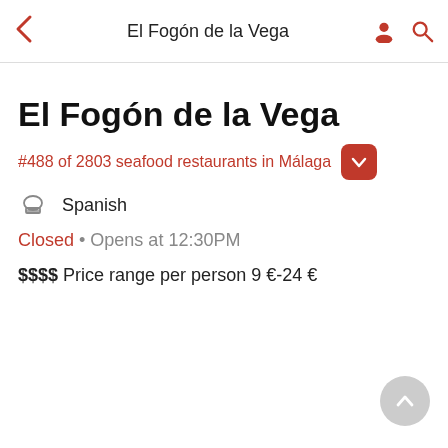El Fogón de la Vega
El Fogón de la Vega
#488 of 2803 seafood restaurants in Málaga
Spanish
Closed • Opens at 12:30PM
$$$ Price range per person 9 €-24 €